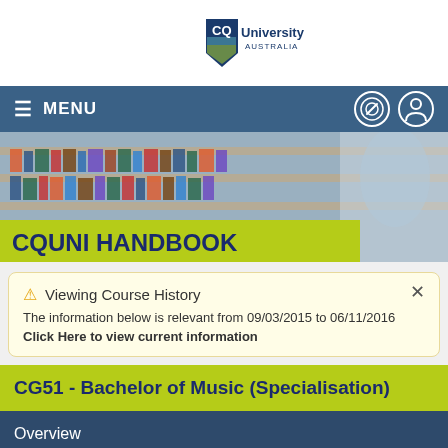[Figure (logo): CQUniversity Australia logo with shield icon]
≡  MENU
[Figure (photo): Photo of library bookshelves with person in background]
CQUNI HANDBOOK
⚠ Viewing Course History
The information below is relevant from 09/03/2015 to 06/11/2016
Click Here to view current information
CG51 - Bachelor of Music (Specialisation)
Overview
Getting Started ▾